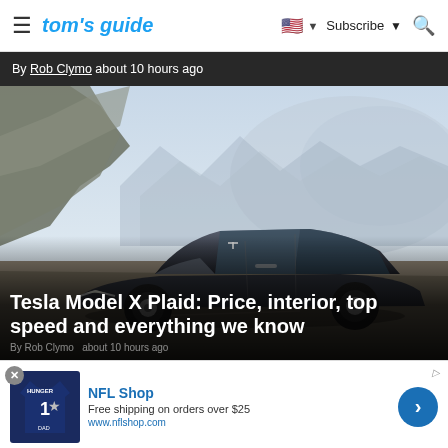tom's guide — Subscribe — Search
By Rob Clymo about 10 hours ago
[Figure (photo): Tesla Model X Plaid electric vehicle driving on a scenic road with rocky cliffs and misty mountains in the background]
Tesla Model X Plaid: Price, interior, top speed and everything we know
By Rob Clymo   about 10 hours ago
[Figure (other): NFL Shop advertisement showing a Dallas Cowboys navy blue jersey shirt. Text: NFL Shop, Free shipping on orders over $25, www.nflshop.com]